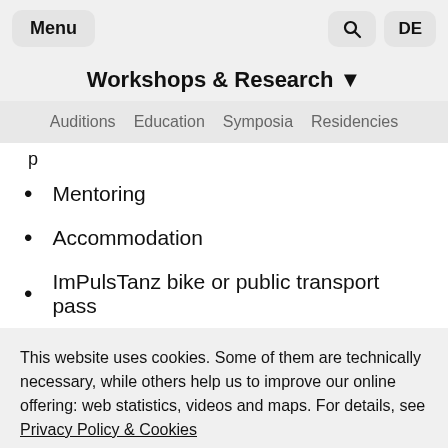Menu | Search | DE
Workshops & Research ▼
Auditions  Education  Symposia  Residencies
p
Mentoring
Accommodation
ImPulsTanz bike or public transport pass
This website uses cookies. Some of them are technically necessary, while others help us to improve our online offering: web statistics, videos and maps. For details, see Privacy Policy & Cookies
Accept all  Customise settings